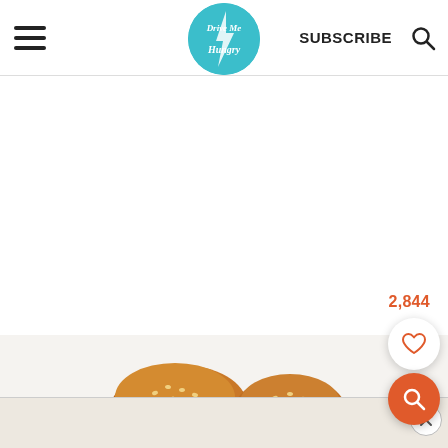Drive Me Hungry — navigation header with hamburger menu, logo, SUBSCRIBE, and search icon
2,844
[Figure (photo): Close-up photo of glazed meatballs or chicken bites in a white bowl with sesame seeds, partially visible food in background]
[Figure (screenshot): Advertisement banner at the bottom of the page]